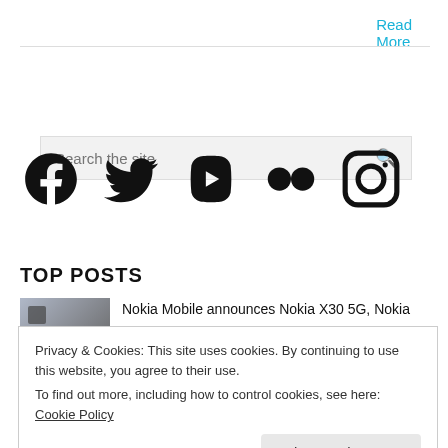Read More
[Figure (infographic): Social media icons row: Facebook, Twitter, YouTube, Flickr, Instagram]
TOP POSTS
Nokia Mobile announces Nokia X30 5G, Nokia
Privacy & Cookies: This site uses cookies. By continuing to use this website, you agree to their use.
To find out more, including how to control cookies, see here: Cookie Policy
Close and accept
Nokia 7.2, G50, XR20 and 1.4 receiving